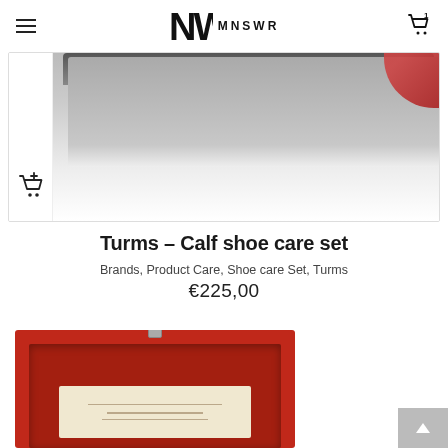MNSWR
[Figure (photo): Partial product card showing a shoe care kit product image with a dark tray and red shoe, with an add-to-cart icon at bottom left]
Turms – Calf shoe care set
Brands, Product Care, Shoe care Set, Turms
€225,00
[Figure (photo): Red wooden box open, lined with red velvet interior, containing a beige label/card with text, with a small clasp at top]